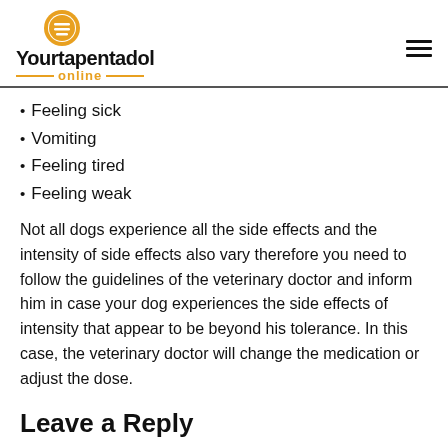Yourtapentadol online
Feeling sick
Vomiting
Feeling tired
Feeling weak
Not all dogs experience all the side effects and the intensity of side effects also vary therefore you need to follow the guidelines of the veterinary doctor and inform him in case your dog experiences the side effects of intensity that appear to be beyond his tolerance. In this case, the veterinary doctor will change the medication or adjust the dose.
Leave a Reply